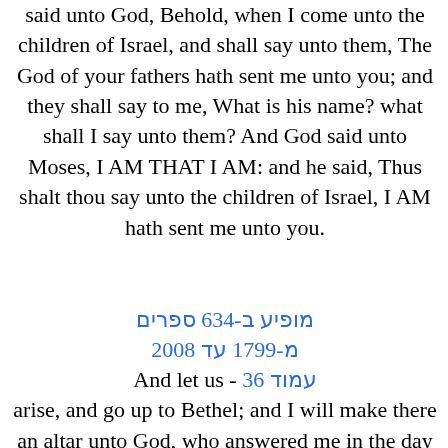said unto God, Behold, when I come unto the children of Israel, and shall say unto them, The God of your fathers hath sent me unto you; and they shall say to me, What is his name? what shall I say unto them? And God said unto Moses, I AM THAT I AM: and he said, Thus shalt thou say unto the children of Israel, I AM hath sent me unto you.
מופיע ב-634 ספרים מ-1799 עד 2008
And let us - עמוד 36 arise, and go up to Bethel; and I will make there an altar unto God, who answered me in the day of my distress, and